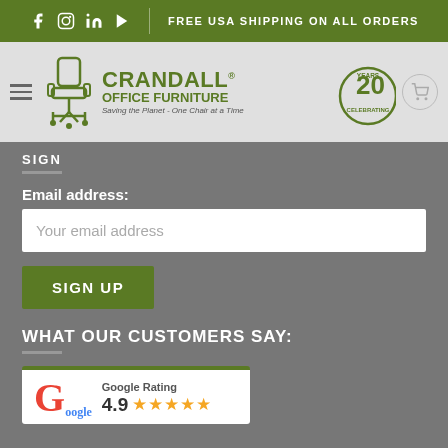FREE USA SHIPPING ON ALL ORDERS
[Figure (logo): Crandall Office Furniture logo with chair icon and 20 Years Celebrating badge. Tagline: Saving the Planet - One Chair at a Time]
SIGN
Email address:
Your email address
SIGN UP
WHAT OUR CUSTOMERS SAY:
Google Rating 4.9